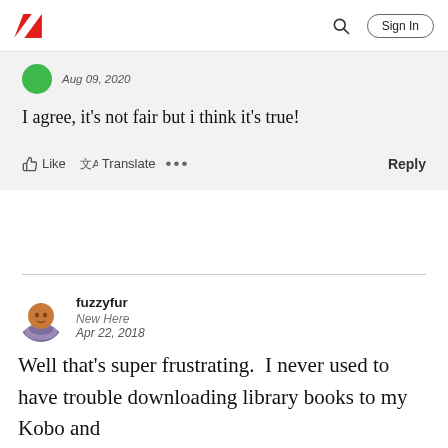Adobe community page header with logo, search, and Sign In button
Aug 09, 2020
I agree, it's not fair but i think it's true!
Like  Translate  ...  Reply
fuzzyfur
New Here
Apr 22, 2018
Well that's super frustrating.  I never used to have trouble downloading library books to my Kobo and